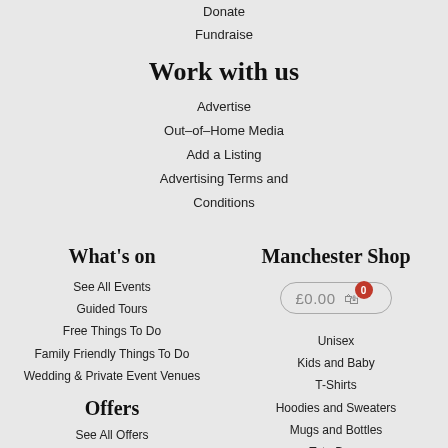Donate
Fundraise
Work with us
Advertise
Out-of-Home Media
Add a Listing
Advertising Terms and Conditions
What's on
Manchester Shop
See All Events
Guided Tours
Free Things To Do
Family Friendly Things To Do
Wedding & Private Event Venues
£0.00  0
Unisex
Kids and Baby
T-Shirts
Hoodies and Sweaters
Mugs and Bottles
Tote Bags
Offers
See All Offers